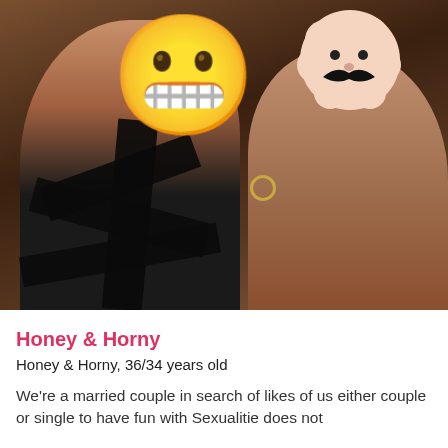[Figure (photo): A couple photo with faces obscured by emoji overlays (a grimacing face emoji on the left person and a cartoon mustache/face sticker on the right person). The left person wears a black strappy outfit. The background is dark warm tones.]
Honey & Horny
Honey & Horny, 36/34 years old
We're a married couple in search of likes of us either couple or single to have fun with Sexualitie does not